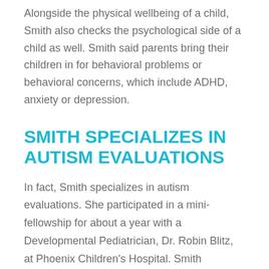Alongside the physical wellbeing of a child, Smith also checks the psychological side of a child as well. Smith said parents bring their children in for behavioral problems or behavioral concerns, which include ADHD, anxiety or depression.
SMITH SPECIALIZES IN AUTISM EVALUATIONS
In fact, Smith specializes in autism evaluations. She participated in a mini-fellowship for about a year with a Developmental Pediatrician, Dr. Robin Blitz, at Phoenix Children's Hospital. Smith completed a program called Early Access to Care Arizona, which was developed to get kids evaluated and diagnosed sooner with autism so that they can get the services they need. Smith is the only one in Yavapai County